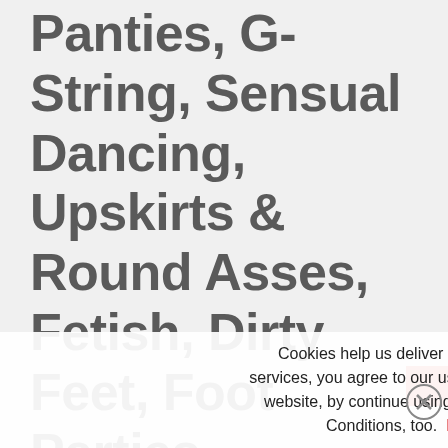Panties, G-String, Sensual Dancing, Upskirts & Round Asses, Fetish, Dirty Feet, Foot Parties, Stocking, Pussy Play, Spreading, Ignore, Massage, Fantasy, Pasties, Thick, Busty, Mo...
Cookies help us deliver our services. By using our services, you agree to our use of cookies. This is an adult website, by continue using it you agree our Terms and Conditions, too. Learn more   Got it